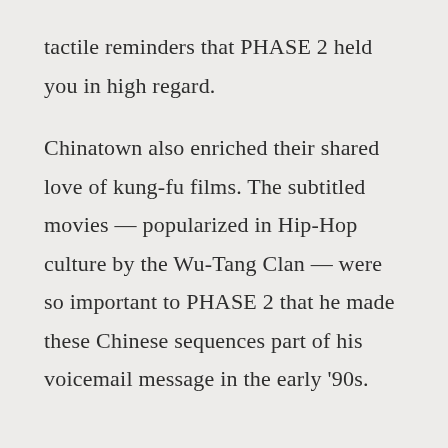tactile reminders that PHASE 2 held you in high regard.
Chinatown also enriched their shared love of kung-fu films. The subtitled movies — popularized in Hip-Hop culture by the Wu-Tang Clan — were so important to PHASE 2 that he made these Chinese sequences part of his voicemail message in the early '90s.